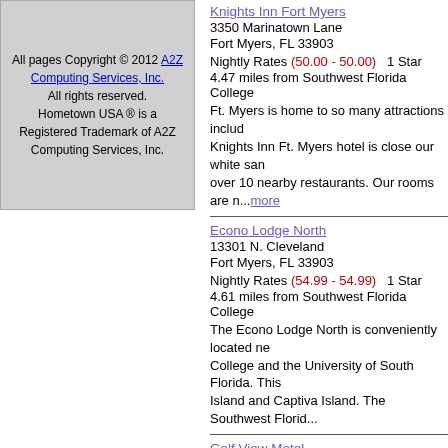All pages Copyright © 2012 A2Z Computing Services, Inc. All rights reserved. Hometown USA ® is a Registered Trademark of A2Z Computing Services, Inc.
Knights Inn Fort Myers
3350 Marinatown Lane
Fort Myers, FL 33903
Nightly Rates (50.00 - 50.00)   1 Star
4.47 miles from Southwest Florida College
Ft. Myers is home to so many attractions includ... Knights Inn Ft. Myers hotel is close our white san... over 10 nearby restaurants. Our rooms are n...more
Econo Lodge North
13301 N. Cleveland
Fort Myers, FL 33903
Nightly Rates (54.99 - 54.99)   1 Star
4.61 miles from Southwest Florida College
The Econo Lodge North is conveniently located ne... College and the University of South Florida. This... Island and Captiva Island. The Southwest Florid...
Golf View Motel
3523 Cleveland Avenue
Fort Myers, FL 33901
Nightly Rates (55.00 - 65.00)   0 Star
1.24 miles from Southwest Florida College
The Golf View Motel in Fort Myers Florida is Loc... Fort Myers Country Club. This Well Maintained, M... Motel is a Place For You to Kick up Your Feet and...
Quality Suites Fort Myers - I-75
13651 Indian Paint Ln.
Fort Myers, FL 33912